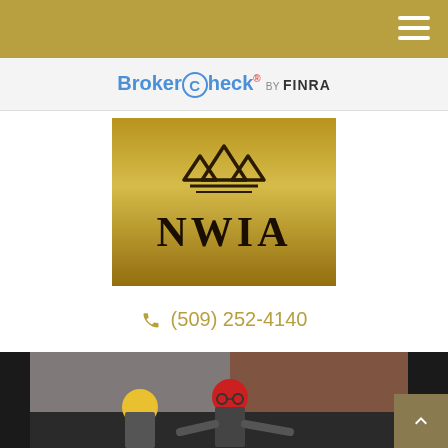BrokerCheck by FINRA
[Figure (logo): NWIA company logo on a gold metallic background with mountain peak icon above the letters NWIA]
(509) 252-4140
[Figure (photo): Animated/cartoon style video thumbnail showing two cartoon characters in a business/action scene with colorful background]